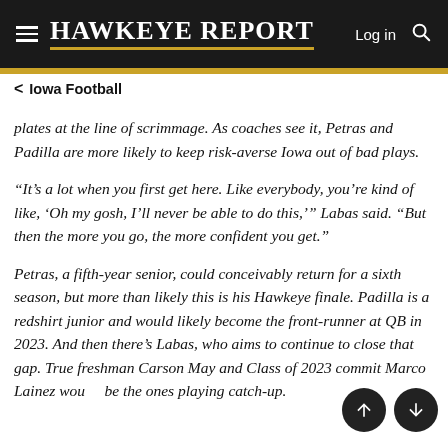HAWKEYE REPORT  Log in
< Iowa Football
plates at the line of scrimmage. As coaches see it, Petras and Padilla are more likely to keep risk-averse Iowa out of bad plays.
“It’s a lot when you first get here. Like everybody, you’re kind of like, ‘Oh my gosh, I’ll never be able to do this,’” Labas said. “But then the more you go, the more confident you get.”
Petras, a fifth-year senior, could conceivably return for a sixth season, but more than likely this is his Hawkeye finale. Padilla is a redshirt junior and would likely become the front-runner at QB in 2023. And then there’s Labas, who aims to continue to close that gap. True freshman Carson May and Class of 2023 commit Marco Lainez wou… be the ones playing catch-up.